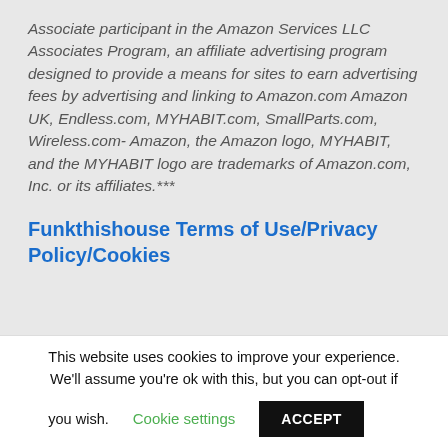Associate participant in the Amazon Services LLC Associates Program, an affiliate advertising program designed to provide a means for sites to earn advertising fees by advertising and linking to Amazon.com Amazon UK, Endless.com, MYHABIT.com, SmallParts.com, Wireless.com- Amazon, the Amazon logo, MYHABIT, and the MYHABIT logo are trademarks of Amazon.com, Inc. or its affiliates.***
Funkthishouse Terms of Use/Privacy Policy/Cookies
This website uses cookies to improve your experience. We'll assume you're ok with this, but you can opt-out if you wish. Cookie settings ACCEPT